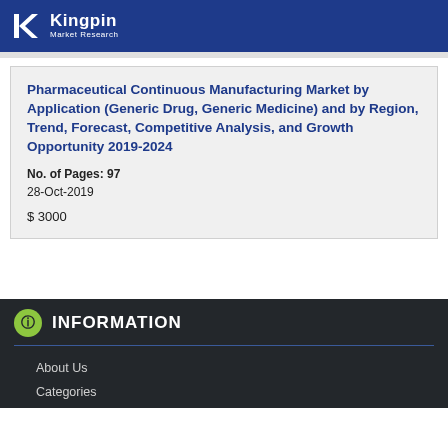Kingpin Market Research
Pharmaceutical Continuous Manufacturing Market by Application (Generic Drug, Generic Medicine) and by Region, Trend, Forecast, Competitive Analysis, and Growth Opportunity 2019-2024
No. of Pages: 97
28-Oct-2019
$ 3000
INFORMATION
About Us
Categories